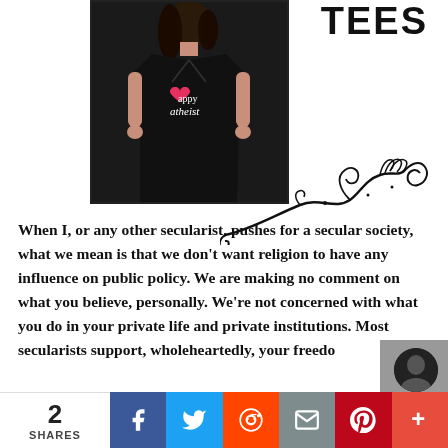[Figure (photo): Woman wearing a black v-neck t-shirt that reads 'happy atheist' with a heart symbol, shown inside a black-bordered rectangle. Decorative black flourish/swirl design visible to the right of the box. Text 'TEES' visible in upper right corner.]
When I, or any other secularist, pushes for a secular society, what we mean is that we don't want religion to have any influence on public policy. We are making no comment on what you believe, personally. We're not concerned with what you do in your private life and private institutions. Most secularists support, wholeheartedly, your freedo...
2 SHARES | Facebook | Twitter | Reddit | Email | Pinterest | +